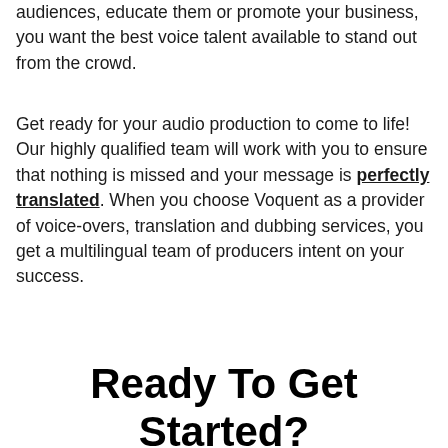audiences, educate them or promote your business, you want the best voice talent available to stand out from the crowd.
Get ready for your audio production to come to life! Our highly qualified team will work with you to ensure that nothing is missed and your message is perfectly translated. When you choose Voquent as a provider of voice-overs, translation and dubbing services, you get a multilingual team of producers intent on your success.
Ready To Get Started?